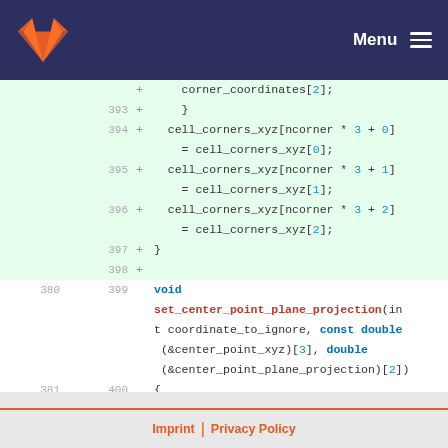GitLab — Menu
[Figure (screenshot): Code diff view showing added lines 393-398 and function definition for set_center_point_plane_projection at lines 399-401]
Imprint | Privacy Policy